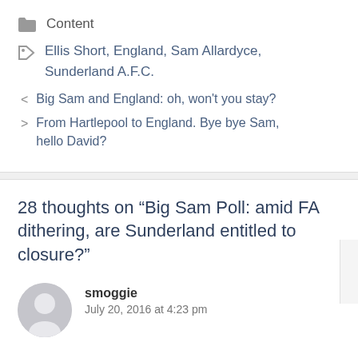Content
Ellis Short, England, Sam Allardyce, Sunderland A.F.C.
< Big Sam and England: oh, won't you stay?
> From Hartlepool to England. Bye bye Sam, hello David?
28 thoughts on “Big Sam Poll: amid FA dithering, are Sunderland entitled to closure?”
smoggie
July 20, 2016 at 4:23 pm